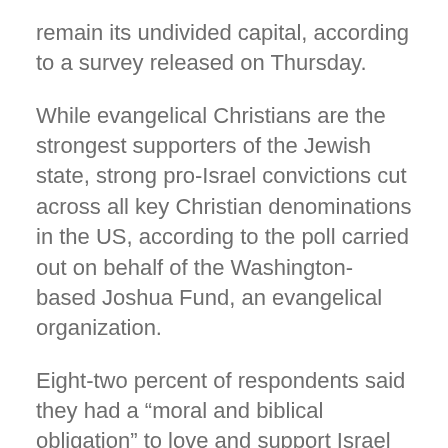remain its undivided capital, according to a survey released on Thursday.
While evangelical Christians are the strongest supporters of the Jewish state, strong pro-Israel convictions cut across all key Christian denominations in the US, according to the poll carried out on behalf of the Washington-based Joshua Fund, an evangelical organization.
Eight-two percent of respondents said they had a “moral and biblical obligation” to love and support Israel and pray for the peace of Jerusalem,” 10% disagreed and 8% did not know.
Eighty-four percent of Protestants agreed